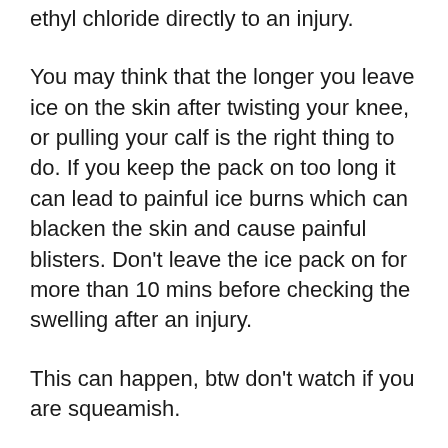ethyl chloride directly to an injury.
You may think that the longer you leave ice on the skin after twisting your knee, or pulling your calf is the right thing to do. If you keep the pack on too long it can lead to painful ice burns which can blacken the skin and cause painful blisters. Don't leave the ice pack on for more than 10 mins before checking the swelling after an injury.
This can happen, btw don't watch if you are squeamish.